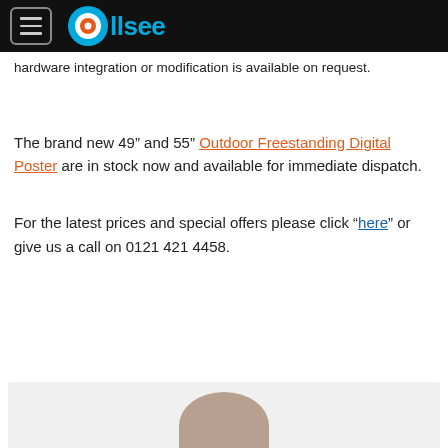allsee
hardware integration or modification is available on request.
The brand new 49” and 55” Outdoor Freestanding Digital Poster are in stock now and available for immediate dispatch.
For the latest prices and special offers please click “here” or give us a call on 0121 421 4458.
[Figure (photo): Partial image of a person's head/face at the bottom of the page]